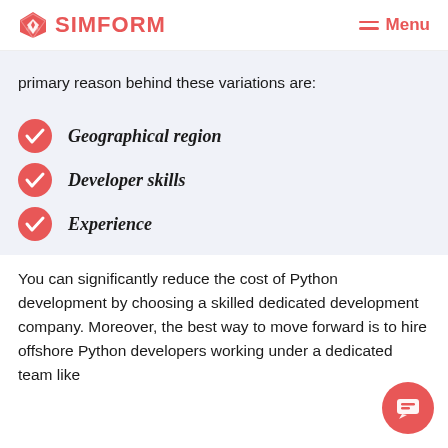SIMFORM  Menu
primary reason behind these variations are:
Geographical region
Developer skills
Experience
You can significantly reduce the cost of Python development by choosing a skilled dedicated development company. Moreover, the best way to move forward is to hire offshore Python developers working under a dedicated team like